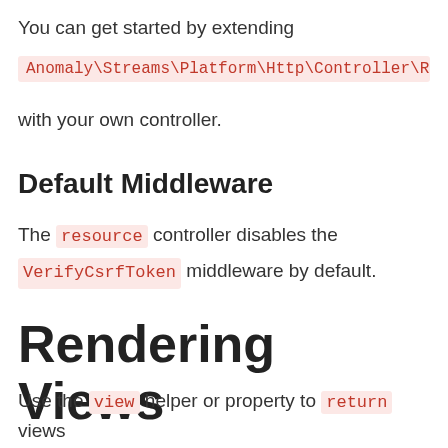You can get started by extending
Anomaly\Streams\Platform\Http\Controller\Res
with your own controller.
Default Middleware
The resource controller disables the VerifyCsrfToken middleware by default.
Rendering Views
Use the view helper or property to return views from a controller.